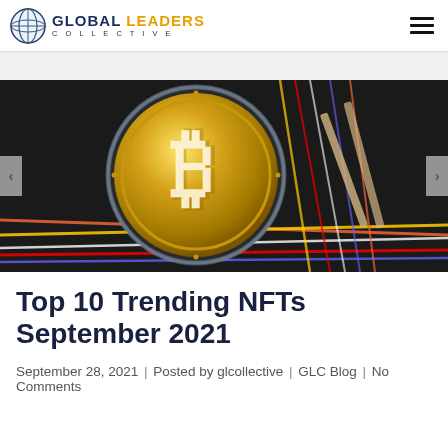GLOBAL LEADERS COLLECTIVE
[Figure (photo): A gold Bitcoin coin resting against a dark background with colorful electronic wires and circuit board components visible in the background.]
Top 10 Trending NFTs September 2021
September 28, 2021 | Posted by glcollective | GLC Blog | No Comments